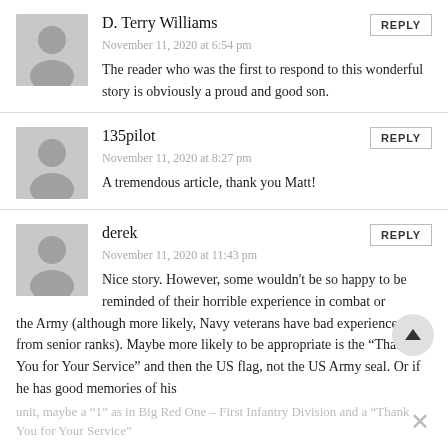D. Terry Williams
November 11, 2020 at 6:54 pm
The reader who was the first to respond to this wonderful story is obviously a proud and good son.
135pilot
November 11, 2020 at 8:27 pm
A tremendous article, thank you Matt!
derek
November 11, 2020 at 11:43 pm
Nice story. However, some wouldn't be so happy to be reminded of their horrible experience in combat or the Army (although more likely, Navy veterans have bad experiences from senior ranks). Maybe more likely to be appropriate is the "Thank You for Your Service" and then the US flag, not the US Army seal. Or if he has good memories of his unit, maybe a "1" as in Big Red One – First Infantry Division and a "Thank You for Your Service"